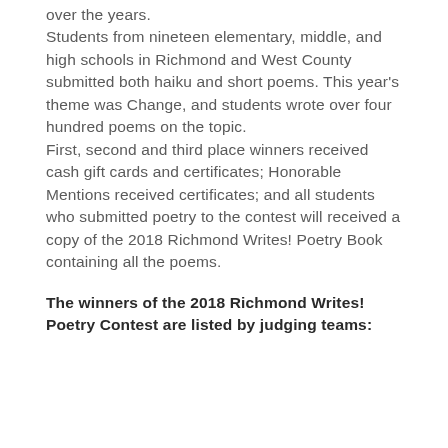over the years. Students from nineteen elementary, middle, and high schools in Richmond and West County submitted both haiku and short poems. This year's theme was Change, and students wrote over four hundred poems on the topic. First, second and third place winners received cash gift cards and certificates; Honorable Mentions received certificates; and all students who submitted poetry to the contest will received a copy of the 2018 Richmond Writes! Poetry Book containing all the poems.
The winners of the 2018 Richmond Writes! Poetry Contest are listed by judging teams: